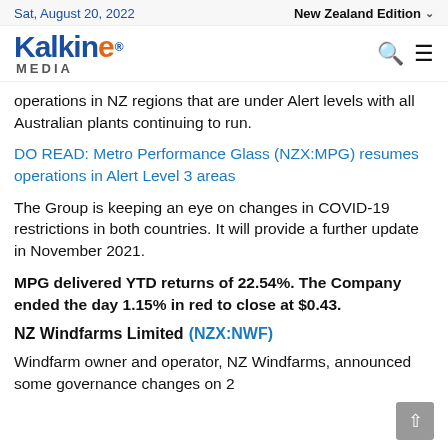Sat, August 20, 2022 | New Zealand Edition
[Figure (logo): Kalkine Media logo with blue and orange text]
operations in NZ regions that are under Alert levels with all Australian plants continuing to run.
DO READ: Metro Performance Glass (NZX:MPG) resumes operations in Alert Level 3 areas
The Group is keeping an eye on changes in COVID-19 restrictions in both countries. It will provide a further update in November 2021.
MPG delivered YTD returns of 22.54%. The Company ended the day 1.15% in red to close at $0.43.
NZ Windfarms Limited (NZX:NWF)
Windfarm owner and operator, NZ Windfarms, announced some governance changes on 2